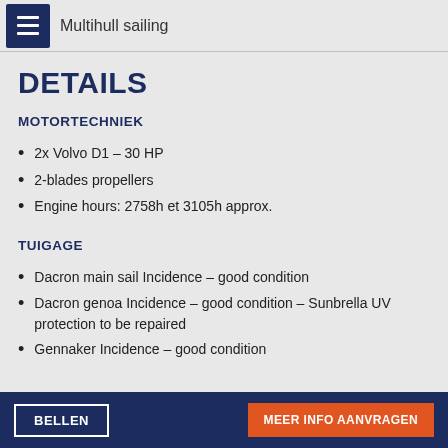Multihull sailing
DETAILS
MOTORTECHNIEK
2x Volvo D1 – 30 HP
2-blades propellers
Engine hours: 2758h et 3105h approx.
TUIGAGE
Dacron main sail Incidence – good condition
Dacron genoa Incidence – good condition – Sunbrella UV protection to be repaired
Gennaker Incidence – good condition
BELLEN | MEER INFO AANVRAGEN